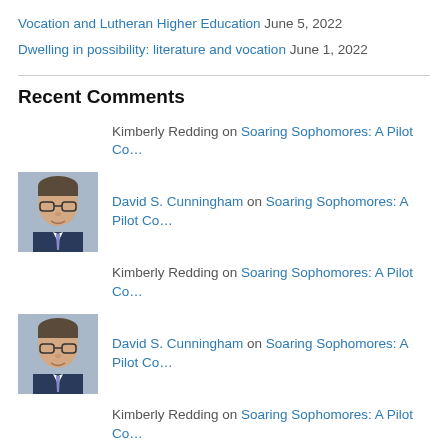Vocation and Lutheran Higher Education June 5, 2022
Dwelling in possibility: literature and vocation June 1, 2022
Recent Comments
Kimberly Redding on Soaring Sophomores: A Pilot Co…
David S. Cunningham on Soaring Sophomores: A Pilot Co…
Kimberly Redding on Soaring Sophomores: A Pilot Co…
David S. Cunningham on Soaring Sophomores: A Pilot Co…
Kimberly Redding on Soaring Sophomores: A Pilot Co…